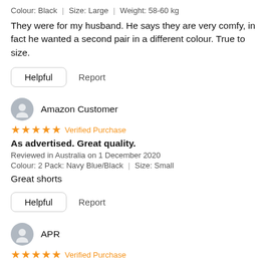Colour: Black | Size: Large | Weight: 58-60 kg
They were for my husband. He says they are very comfy, in fact he wanted a second pair in a different colour. True to size.
Helpful   Report
Amazon Customer
★★★★★ Verified Purchase
As advertised. Great quality.
Reviewed in Australia on 1 December 2020
Colour: 2 Pack: Navy Blue/Black | Size: Small
Great shorts
Helpful   Report
APR
★★★★★ Verified Purchase